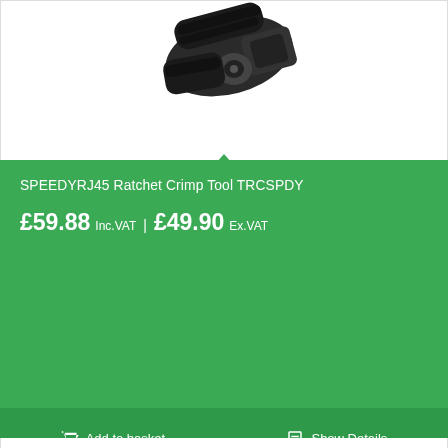[Figure (photo): A black ratchet crimp tool photographed from above against a white background, partially cropped at the top of the card.]
SPEEDYRJ45 Ratchet Crimp Tool TRCSPDY
£59.88 Inc.VAT | £49.90 Ex.VAT
Add to basket
Show Details